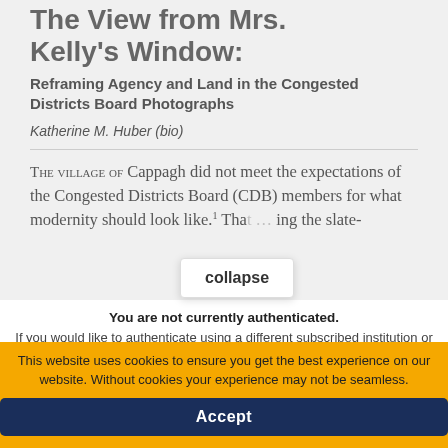The View from Mrs. Kelly's Window:
Reframing Agency and Land in the Congested Districts Board Photographs
Katherine M. Huber (bio)
The village of Cappagh did not meet the expectations of the Congested Districts Board (CDB) members for what modernity should look like.¹ Tha[t] … using the slate-
You are not currently authenticated. If you would like to authenticate using a different subscribed institution or
This website uses cookies to ensure you get the best experience on our website. Without cookies your experience may not be seamless.